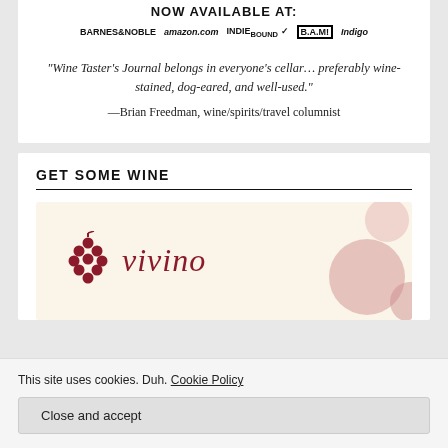[Figure (logo): Book retailer logos banner showing NOW AVAILABLE AT: with Barnes & Noble, amazon.com, IndieBound, BAM!, and Indigo logos]
“Wine Taster’s Journal belongs in everyone’s cellar… preferably wine-stained, dog-eared, and well-used.” —Brian Freedman, wine/spirits/travel columnist
GET SOME WINE
[Figure (logo): Vivino logo on a cream/beige background with decorative pink circles, showing grape cluster icon and vivino wordmark in dark red italic text]
This site uses cookies. Duh. Cookie Policy
Close and accept